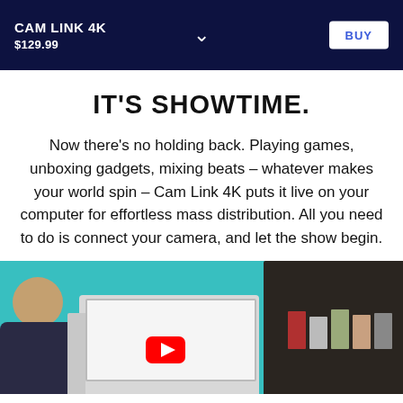CAM LINK 4K
$129.99
IT'S SHOWTIME.
Now there's no holding back. Playing games, unboxing gadgets, mixing beats – whatever makes your world spin – Cam Link 4K puts it live on your computer for effortless mass distribution. All you need to do is connect your camera, and let the show begin.
[Figure (photo): Photo of a person sitting at a desk with a monitor, with a YouTube logo visible on screen and a shelf with items in the background, set against a teal/cyan wall.]